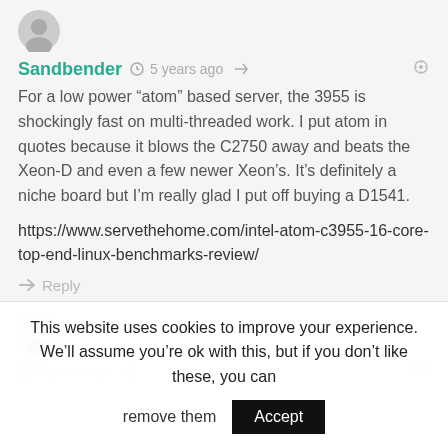[Figure (illustration): User avatar circle icon, gray silhouette]
Sandbender  5 years ago
For a low power “atom” based server, the 3955 is shockingly fast on multi-threaded work. I put atom in quotes because it blows the C2750 away and beats the Xeon-D and even a few newer Xeon’s. It’s definitely a niche board but I’m really glad I put off buying a D1541.
https://www.servethehome.com/intel-atom-c3955-16-core-top-end-linux-benchmarks-review/
Reply
[Figure (illustration): Second user avatar circle icon, gray silhouette]
5 years ago
This website uses cookies to improve your experience. We’ll assume you’re ok with this, but if you don’t like these, you can remove them
Accept